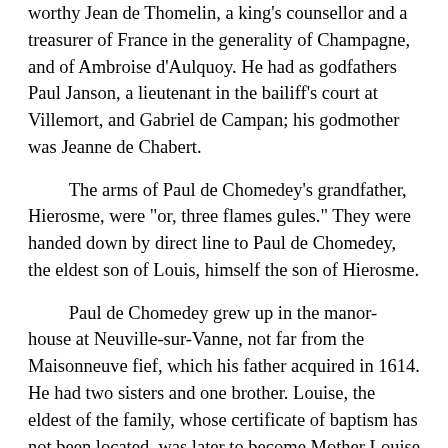worthy Jean de Thomelin, a king's counsellor and a treasurer of France in the generality of Champagne, and of Ambroise d'Aulquoy. He had as godfathers Paul Janson, a lieutenant in the bailiff's court at Villemort, and Gabriel de Campan; his godmother was Jeanne de Chabert.
The arms of Paul de Chomedey's grandfather, Hierosme, were "or, three flames gules." They were handed down by direct line to Paul de Chomedey, the eldest son of Louis, himself the son of Hierosme.
Paul de Chomedey grew up in the manor-house at Neuville-sur-Vanne, not far from the Maisonneuve fief, which his father acquired in 1614. He had two sisters and one brother. Louise, the eldest of the family, whose certificate of baptism has not been located, was later to become Mother Louise de Sainte-Marie, of the Congrégation Notre-Dame at Troyes. The date of her death is not known; we do know however that she survived her brother